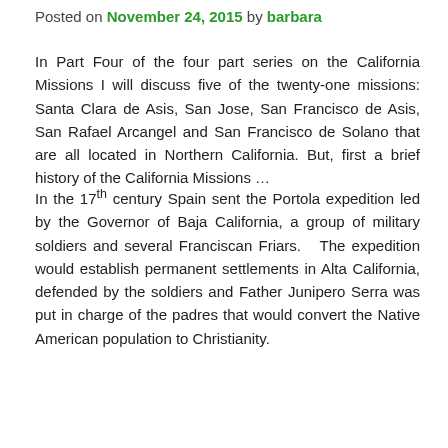Posted on November 24, 2015 by barbara
In Part Four of the four part series on the California Missions I will discuss five of the twenty-one missions: Santa Clara de Asis, San Jose, San Francisco de Asis, San Rafael Arcangel and San Francisco de Solano that are all located in Northern California. But, first a brief history of the California Missions …
In the 17th century Spain sent the Portola expedition led by the Governor of Baja California, a group of military soldiers and several Franciscan Friars.  The expedition would establish permanent settlements in Alta California, defended by the soldiers and Father Junipero Serra was put in charge of the padres that would convert the Native American population to Christianity.